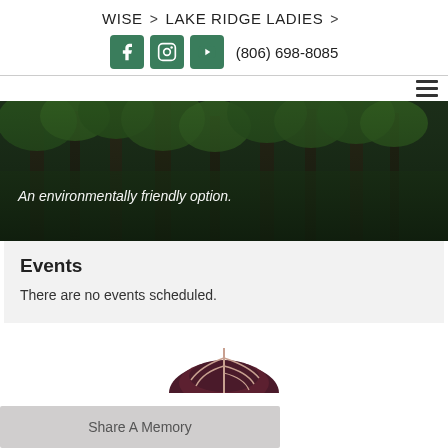WISE > LAKE RIDGE LADIES >
(806) 698-8085
[Figure (photo): Forest scene with tall trees and green foliage. White italic text overlay: 'An environmentally friendly option.']
Events
There are no events scheduled.
[Figure (logo): Partial dark maroon feather/quill logo at bottom center]
Share A Memory